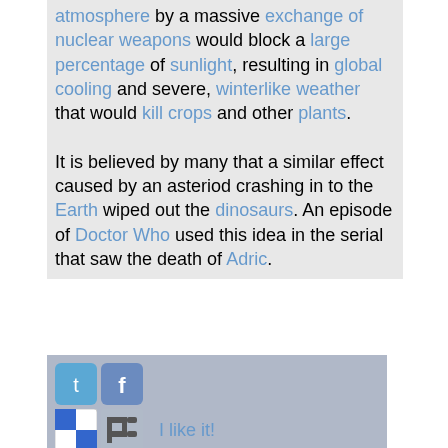atmosphere by a massive exchange of nuclear weapons would block a large percentage of sunlight, resulting in global cooling and severe, winterlike weather that would kill crops and other plants.

It is believed by many that a similar effect caused by an asteriod crashing in to the Earth wiped out the dinosaurs. An episode of Doctor Who used this idea in the serial that saw the death of Adric.
[Figure (infographic): Social sharing bar with Twitter, Facebook, Delicious, Digg, StumbleUpon, Reddit icons and 'I like it!' text]